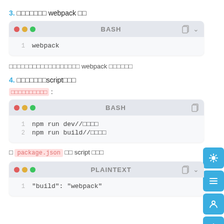3. 실행하기 webpack 빌드
[Figure (screenshot): BASH code block showing: 1  webpack]
위 명령어를 실행하면 webpack 이 실행됩니다
4. 실행하기script빌드
명령어 모음 :
[Figure (screenshot): BASH code block showing: 1  npm run dev//개발용  2  npm run build//배포용]
※ package.json 의 script 참고
[Figure (screenshot): PLAINTEXT code block showing: 1  "build": "webpack"]